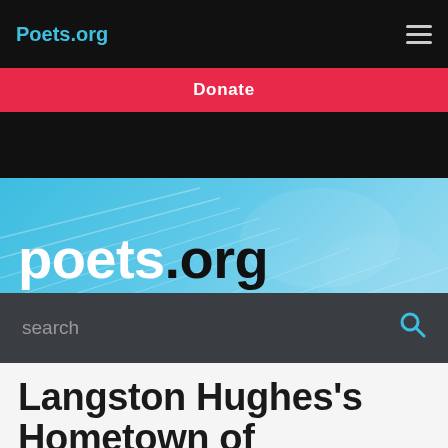Poets.org
Donate
[Figure (screenshot): Poets.org website header with blue background and large logo text 'poets.org' with a search bar below]
Langston Hughes's Hometown of